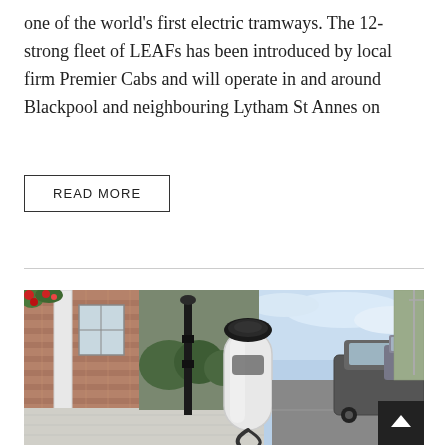one of the world's first electric tramways. The 12-strong fleet of LEAFs has been introduced by local firm Premier Cabs and will operate in and around Blackpool and neighbouring Lytham St Annes on
READ MORE
[Figure (photo): Street scene showing an electric vehicle charging station on a residential street with brick houses, parked cars, and a sleek white EV charger pod with a black top in the center.]